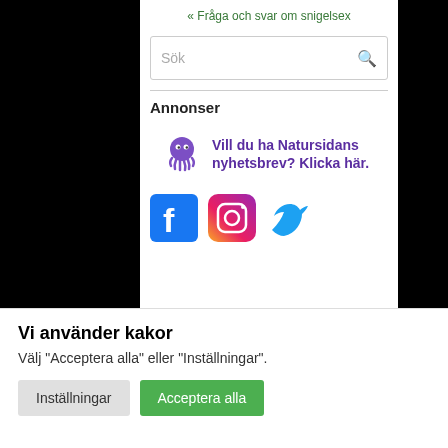« Fråga och svar om snigelsex
[Figure (screenshot): Search box with placeholder text 'Sök' and a magnifying glass icon]
Annonser
[Figure (illustration): Purple octopus mascot with text: Vill du ha Natursidans nyhetsbrev? Klicka här.]
[Figure (logo): Social media icons: Facebook (blue), Instagram (gradient), Twitter (blue bird)]
Vi använder kakor
Välj "Acceptera alla" eller "Inställningar".
Inställningar   Acceptera alla